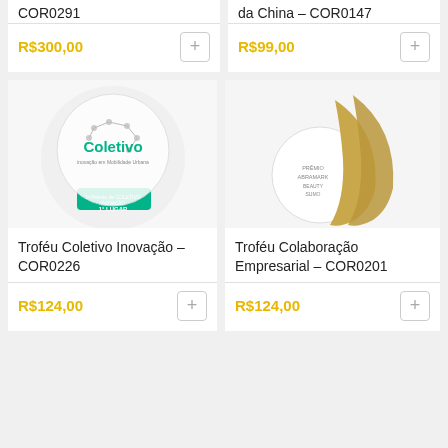COR0291
da China – COR0147
R$300,00
R$99,00
[Figure (photo): Troféu Coletivo Inovação trophy with green base and circular acrylic top showing Coletivo logo, inscribed 1° LUGAR]
[Figure (photo): Troféu Colaboração Empresarial award with gold curved elements and circular white acrylic base]
Troféu Coletivo Inovação – COR0226
Troféu Colaboração Empresarial – COR0201
R$124,00
R$124,00